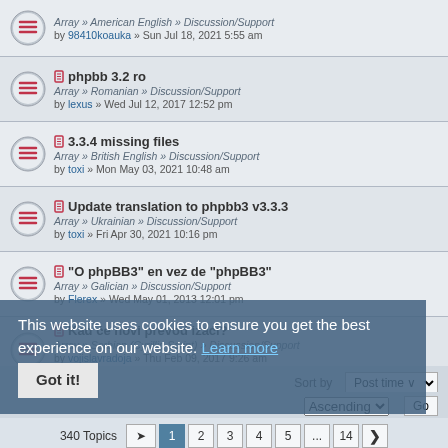Array » American English » Discussion/Support — by 98410koauka » Sun Jul 18, 2021 5:55 am
phpbb 3.2 ro — Array » Romanian » Discussion/Support — by lexus » Wed Jul 12, 2017 12:52 pm
3.3.4 missing files — Array » British English » Discussion/Support — by toxi » Mon May 03, 2021 10:48 am
Update translation to phpbb3 v3.3.3 — Array » Ukrainian » Discussion/Support — by toxi » Fri Apr 30, 2021 10:16 pm
"O phpBB3" en vez de "phpBB3" — Array » Galician » Discussion/Support — by Flerex » Wed May 01, 2013 12:01 pm
Kad će novi prevod izaći? — Array » Serbian (Cyrillic Script) » Discussion/Support — by vojislavradoja » Thu Feb 09, 2017 9:26 am
Array » British English » Discussion/Support
This website uses cookies to ensure you get the best experience on our website. Learn more
Sort by Post time — Ascending — Go
340 Topics — 1 2 3 4 5 ... 14